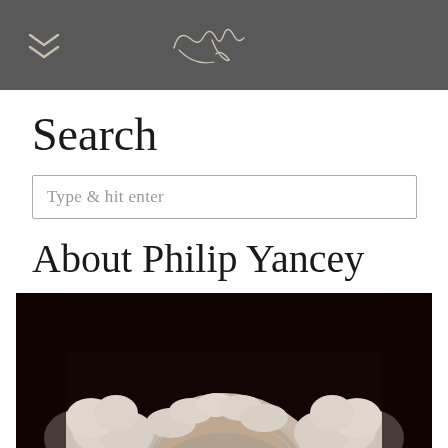Philip Yancey (signature/logo) with navigation chevron
Search
Type & hit enter
About Philip Yancey
[Figure (photo): Black and white close-up portrait photograph of Philip Yancey, showing the top of his head with curly white/grey hair and glasses just visible at the bottom edge, against a very dark brown/black background.]